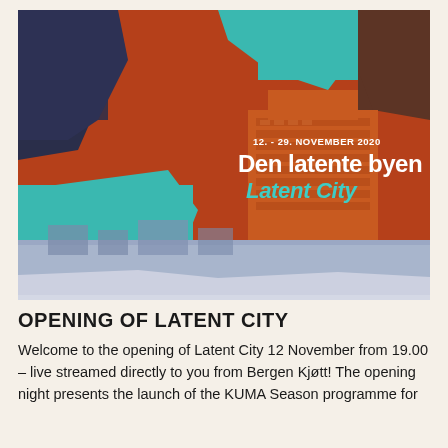[Figure (illustration): Exhibition poster for 'Den latente byen / Latent City' showing an abstract collage illustration with a terracotta/rust red background, an orange-toned modernist building (multi-story), figures in dark blue/navy, teal geometric shapes, and a lavender/grey city street scene at the bottom. Text overlay reads '12. - 29. NOVEMBER 2020', 'Den latente byen', 'Latent City' in white and teal colors.]
OPENING OF LATENT CITY
Welcome to the opening of Latent City 12 November from 19.00 – live streamed directly to you from Bergen Kjøtt! The opening night presents the launch of the KUMA Season programme for...